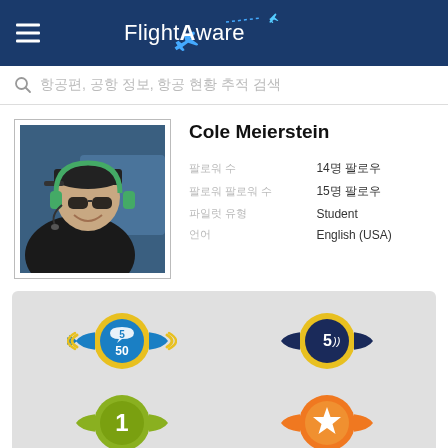FlightAware
항공편, 공항 정보, 항공 현황 추적 검색
[Figure (photo): Profile photo of Cole Meierstein wearing a headset and cap inside a small aircraft cockpit]
Cole Meierstein
팔로워 수 14명 팔로우 팔로워 수 15명 파일럿 유형 Student 언어 English (USA)
[Figure (infographic): Four achievement badges: blue chat badge (5/50), dark blue sound badge (5), green level-1 badge, and orange star badge]